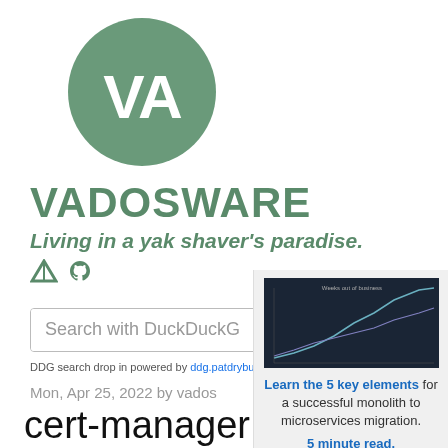[Figure (logo): Circular green logo with white 'VA' letters inside]
VADOSWARE
Living in a yak shaver's paradise.
Search with DuckDuckG   Search 🔍
DDG search drop in powered by ddg.patdryburgh.com
[Figure (screenshot): Dark line chart screenshot used in advertisement]
Learn the 5 key elements for a successful monolith to microservices migration. 5 minute read.
Ad by EthicalAds
Mon, Apr 25, 2022 by vados
cert-manager moved from Bazel to Make